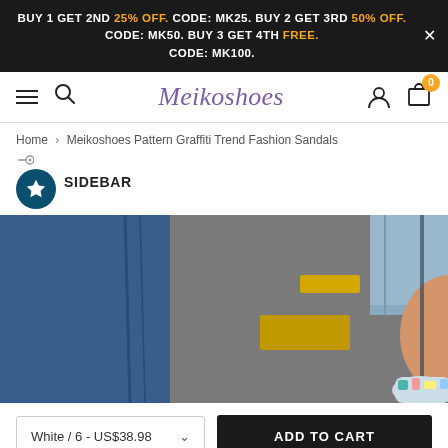BUY 1 GET 2ND 25% OFF. CODE: MK25. BUY 2 GET 3RD 50% OFF. CODE: MK50. BUY 3 GET 4TH FREE. CODE: MK100.
Meikoshoes
Home > Meikoshoes Pattern Graffiti Trend Fashion Sandals
SIDEBAR
[Figure (photo): Close-up photo of a person wearing graffiti-patterned fashion sandals on a road with yellow markings, wearing rolled-up jeans]
White / 6 - US$38.98
ADD TO CART